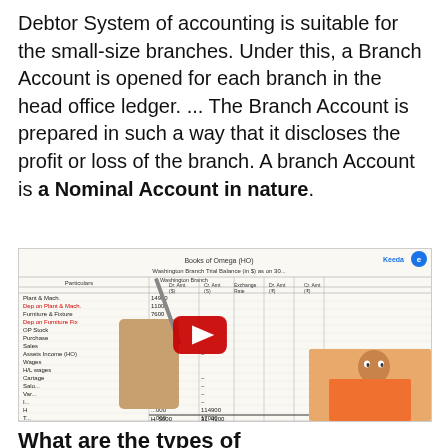Debtor System of accounting is suitable for the small-size branches. Under this, a Branch Account is opened for each branch in the head office ledger. ... The Branch Account is prepared in such a way that it discloses the profit or loss of the branch. A branch Account is a Nominal Account in nature.
[Figure (screenshot): A YouTube video thumbnail showing a handwritten ledger/trial balance sheet titled 'Books of Omega (HO)' with columns for Particulars, Washington Branch Trial Balance with Dr and Cr amounts, Exchange Rate, Dr and Cr amounts. A hand holding a pen points at the ledger. An instructor in an orange shirt is visible at the bottom right. A YouTube play button overlay is present. The eKeeda logo appears at the top right.]
What are the types of